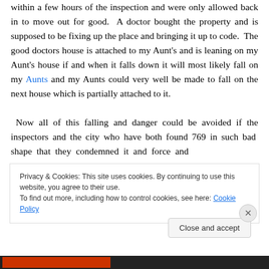within a few hours of the inspection and were only allowed back in to move out for good. A doctor bought the property and is supposed to be fixing up the place and bringing it up to code. The good doctors house is attached to my Aunt's and is leaning on my Aunt's house if and when it falls down it will most likely fall on my Aunts and my Aunts could very well be made to fall on the next house which is partially attached to it.

Now all of this falling and danger could be avoided if the inspectors and the city who have both found 769 in such bad shape that they condemned it and force and
Privacy & Cookies: This site uses cookies. By continuing to use this website, you agree to their use.
To find out more, including how to control cookies, see here: Cookie Policy
Close and accept